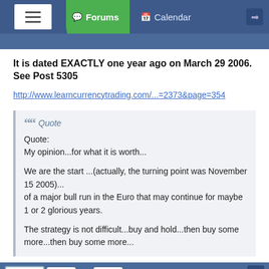Forums | Calendar
It is dated EXACTLY one year ago on March 29 2006. See Post 5305
http://www.learncurrencytrading.com/...=2373&page=354
Quote:
My opinion...for what it is worth...

We are the start ...(actually, the turning point was November 15 2005)...
of a major bull run in the Euro that may continue for maybe 1 or 2 glorious years.

The strategy is not difficult...buy and hold...then buy some more...then buy some more...
Page 1  2  →  656
[Figure (screenshot): Forex.com advertisement banner: LEVEL UP YOUR TRADING. Forex trading involves significant risk of loss and is not suitable for all investors. *All StoneX]